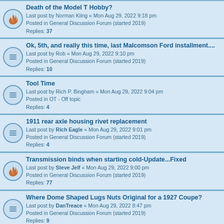Death of the Model T Hobby?
Last post by Norman Kling « Mon Aug 29, 2022 9:18 pm
Posted in General Discussion Forum (started 2019)
Replies: 37
Ok, 5th, and really this time, last Malcomson Ford installment....
Last post by Rob « Mon Aug 29, 2022 9:10 pm
Posted in General Discussion Forum (started 2019)
Replies: 10
Tool Time
Last post by Rich P. Bingham « Mon Aug 29, 2022 9:04 pm
Posted in OT - Off topic
Replies: 4
1911 rear axle housing rivet replacement
Last post by Rich Eagle « Mon Aug 29, 2022 9:01 pm
Posted in General Discussion Forum (started 2019)
Replies: 4
Transmission binds when starting cold-Update...Fixed
Last post by Steve Jelf « Mon Aug 29, 2022 9:00 pm
Posted in General Discussion Forum (started 2019)
Replies: 77
Where Dome Shaped Lugs Nuts Original for a 1927 Coupe?
Last post by DanTreace « Mon Aug 29, 2022 8:47 pm
Posted in General Discussion Forum (started 2019)
Replies: 9
flywheel ring gear WTB
Last post by ModelT46 « Mon Aug 29, 2022 8:40 pm
Posted in Classifieds - Parts
Replies: 7